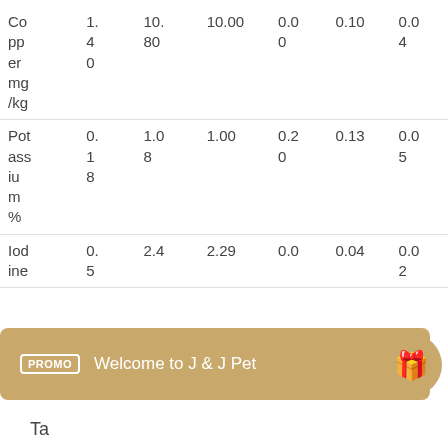| Nutrient | Value1 | Value2 | Value3 | Value4 | Value5 | Value6 |
| --- | --- | --- | --- | --- | --- | --- |
| Copper mg/kg | 1.40 | 10.80 | 10.00 | 0.00 | 0.10 | 0.04 |
| Potassium % | 0.18 | 1.08 | 1.00 | 0.20 | 0.13 | 0.05 |
| Iodine | 0.5 | 2.4 | 2.29 | 0.0 | 0.04 | 0.02 |
Ta